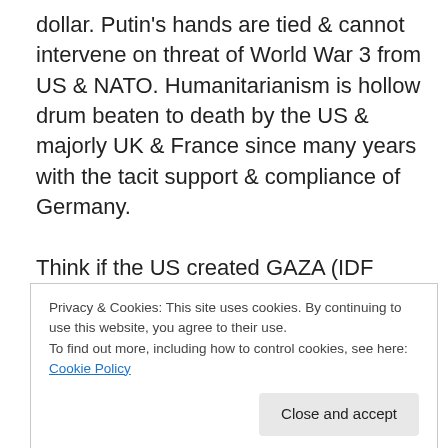dollar.  Putin's hands are tied & cannot intervene on threat of World War 3 from US & NATO.  Humanitarianism is hollow drum beaten to death by the US & majorly UK & France since many years with the tacit support & compliance of Germany.
Think if the US created GAZA (IDF kidnapped & executed the 3 teenagers not Hamas – See http://rt.com/news/177716-us-israel-funding-aggression/) & shot down via Kiev proxies MH17 as diversions to take public attention away from a campaign in tatters and now
Privacy & Cookies: This site uses cookies. By continuing to use this website, you agree to their use.
To find out more, including how to control cookies, see here: Cookie Policy
wanted another oligarch thief for a president?  This is